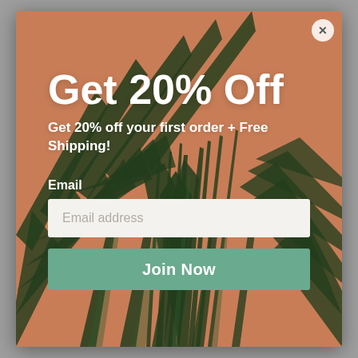[Figure (photo): Modal popup over a blurred background. The modal features a background photograph of dark green tropical palm leaves against a warm terracotta/brown background.]
Get 20% Off
Get 20% off your first order + Free Shipping!
Email
Email address
Join Now